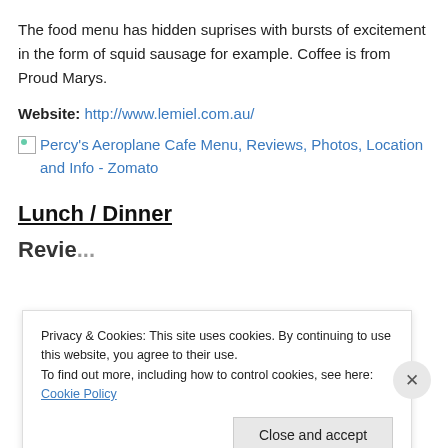The food menu has hidden suprises with bursts of excitement in the form of squid sausage for example. Coffee is from Proud Marys.
Website: http://www.lemiel.com.au/
[Figure (other): Broken image icon followed by link text: Percy's Aeroplane Cafe Menu, Reviews, Photos, Location and Info - Zomato]
Lunch / Dinner
Privacy & Cookies: This site uses cookies. By continuing to use this website, you agree to their use. To find out more, including how to control cookies, see here: Cookie Policy
Close and accept